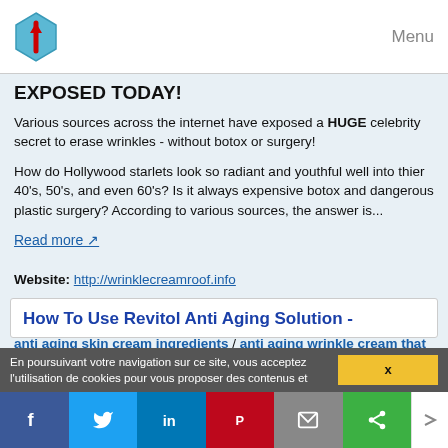Menu
EXPOSED TODAY!
Various sources across the internet have exposed a HUGE celebrity secret to erase wrinkles - without botox or surgery!
How do Hollywood starlets look so radiant and youthful well into thier 40's, 50's, and even 60's? Is it always expensive botox and dangerous plastic surgery? According to various sources, the answer is...
Read more
Website: http://wrinklecreamroof.info
Related topics : hyaluronic acid anti aging cream / anti aging wrinkle cream ingredients / best anti aging eye cream products / anti aging skin cream ingredients / anti aging wrinkle cream that really works
How To Use Revitol Anti Aging Solution -
En poursuivant votre navigation sur ce site, vous acceptez l'utilisation de cookies pour vous proposer des contenus et